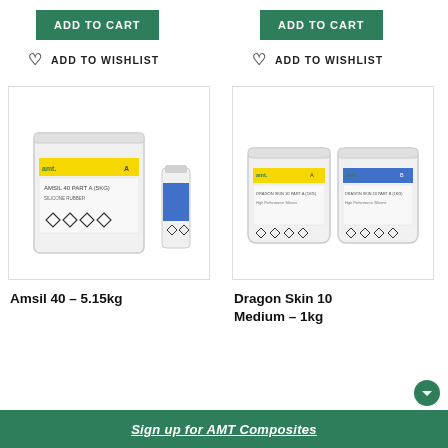ADD TO CART
ADD TO CART
ADD TO WISHLIST
ADD TO WISHLIST
[Figure (photo): White bucket container of Amsil 40 Part A with a small blue bottle of Part B, both labeled with AMT Composites branding and hazard diamonds.]
[Figure (photo): Two white tubs of Dragon Skin 10 Medium Part A and Part B, labeled with AMT Composites branding and hazard diamond warnings.]
Amsil 40 – 5.15kg
Dragon Skin 10 Medium – 1kg
Sign up for AMT Composites